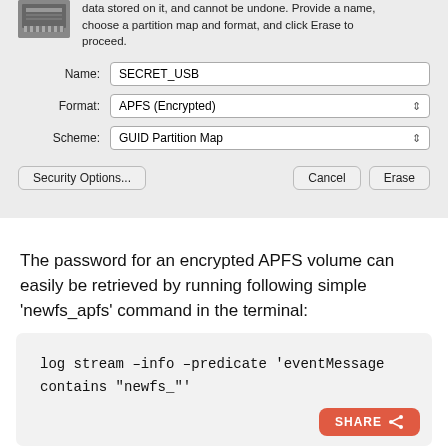[Figure (screenshot): macOS Disk Utility Erase dialog showing fields: Name: SECRET_USB, Format: APFS (Encrypted), Scheme: GUID Partition Map, with buttons Security Options..., Cancel, Erase. Top text partially visible: 'data stored on it, and cannot be undone. Provide a name, choose a partition map and format, and click Erase to proceed.']
The password for an encrypted APFS volume can easily be retrieved by running following simple 'newfs_apfs' command in the terminal:
[Figure (screenshot): Code block with command: log stream –info –predicate 'eventMessage contains "newfs_"']
However, this bug is not as stupid as the previously